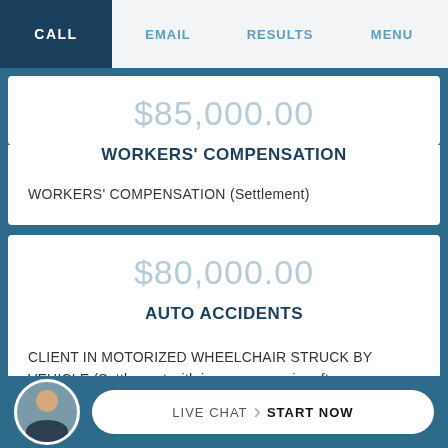CALL | EMAIL | RESULTS | MENU
$85,000.00
WORKERS' COMPENSATION
WORKERS' COMPENSATION (Settlement)
$80,000.00
AUTO ACCIDENTS
CLIENT IN MOTORIZED WHEELCHAIR STRUCK BY VEHICLE (Settlement with insurance carrier after we obtained a favorable traffic court verdict
LIVE CHAT › START NOW